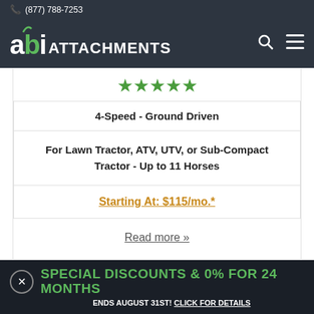(877) 788-7253
[Figure (logo): ABI Attachments logo with search and menu icons on dark background]
[Figure (other): Five green star rating icons]
| 4-Speed - Ground Driven |
| For Lawn Tractor, ATV, UTV, or Sub-Compact Tractor - Up to 11 Horses |
| Starting At: $115/mo.* |
Read more »
SPECIAL DISCOUNTS & 0% FOR 24 MONTHS
ENDS AUGUST 31ST! CLICK FOR DETAILS